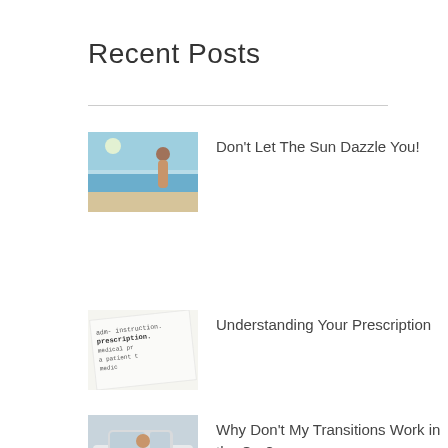Recent Posts
Don't Let The Sun Dazzle You!
Understanding Your Prescription
Why Don't My Transitions Work in the Car?